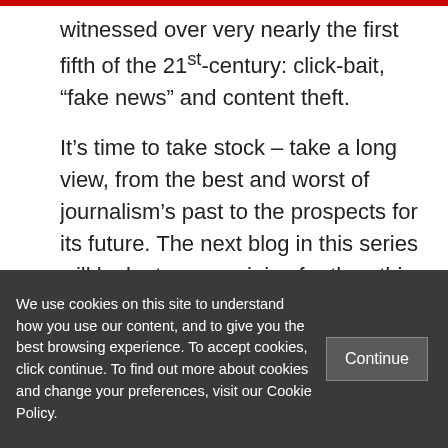witnessed over very nearly the first fifth of the 21st-century: click-bait, “fake news” and content theft.
It’s time to take stock – take a long view, from the best and worst of journalism’s past to the prospects for its future. The next blog in this series will look at some origins for the ethics of journalism as a human function. It’ll go back a little further in moral philosophy
We use cookies on this site to understand how you use our content, and to give you the best browsing experience. To accept cookies, click continue. To find out more about cookies and change your preferences, visit our Cookie Policy.